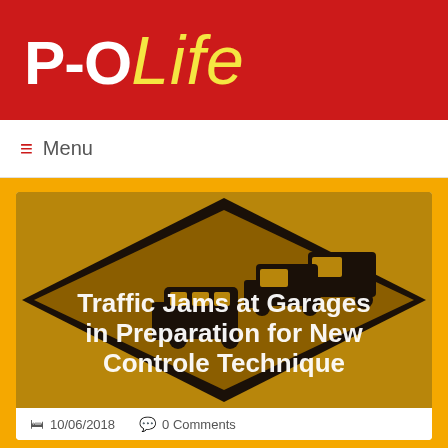P-O Life
≡  Menu
[Figure (illustration): Brown diamond-shaped road traffic sign with silhouettes of trucks/buses stuck in a traffic jam, overlaid with white text reading 'Traffic Jams at Garages in Preparation for New Controle Technique']
Traffic Jams at Garages in Preparation for New Controle Technique
10/06/2018   0 Comments